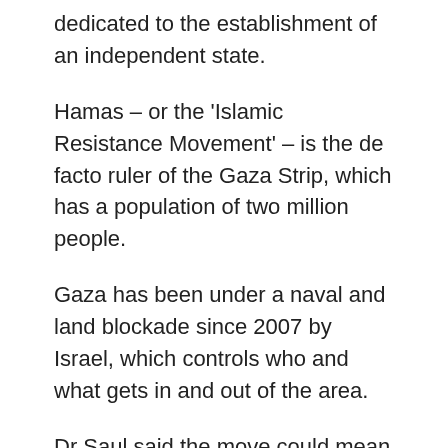dedicated to the establishment of an independent state.
Hamas – or the 'Islamic Resistance Movement' – is the de facto ruler of the Gaza Strip, which has a population of two million people.
Gaza has been under a naval and land blockade since 2007 by Israel, which controls who and what gets in and out of the area.
Dr Saul said the move could mean anyone who works for the Hamas government, including street sweepers, teachers and nurses, would be considered as terrorists under Australian law.
“You also indirectly punish everybody who relies on the government for basic social services.